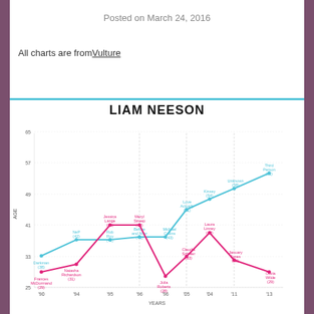Posted on March 24, 2016
All charts are from Vulture
LIAM NEESON
[Figure (line-chart): Line chart showing Liam Neeson's age (blue) vs co-star age (pink) over years]